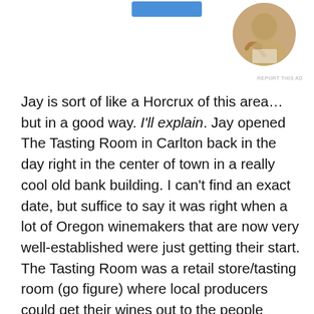[Figure (photo): Circular cropped photo of a person writing or reading, visible in top right corner of the page]
REPORT THIS AD
Jay is sort of like a Horcrux of this area… but in a good way. I'll explain. Jay opened The Tasting Room in Carlton back in the day right in the center of town in a really cool old bank building. I can't find an exact date, but suffice to say it was right when a lot of Oregon winemakers that are now very well-established were just getting their start. The Tasting Room was a retail store/tasting room (go figure) where local producers could get their wines out to the people before they were big enough to have tasting rooms of their own. Legend holds that many-a now well-known winemakers had help from Jay in the beginning. Thats why he's a Horcrux- he has a bit of all of their souls. But again, not in a sinister way.